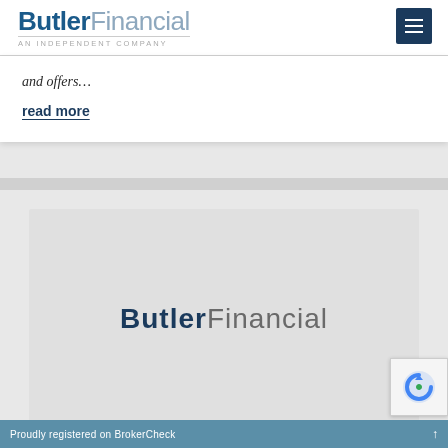ButlerFinancial — AN INDEPENDENT COMPANY
and offers…
read more
[Figure (logo): ButlerFinancial logo centered on a light gray background card]
Proudly registered on BrokerCheck ↑